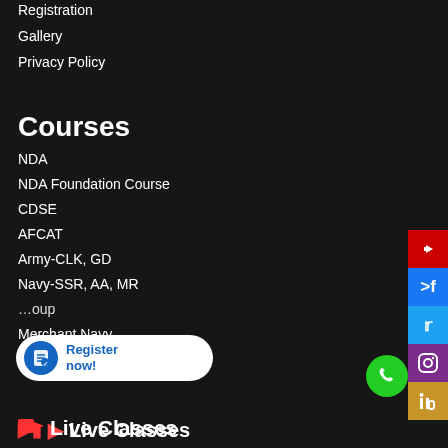Registration
Gallery
Privacy Policy
Courses
NDA
NDA Foundation Course
CDSE
AFCAT
Army-CLK, GD
Navy-SSR, AA, MR
[partially obscured] Group
Merchant Navy
🎥 Live Classes
NDA
Refund policy
Cancellation policy
Terms & Condition
Address
Head Office:
Shivram Singh Enclave, Opposite Touchwood School, Sahstradhara Road, Dehradun, Uttarakhand 248001.
Email:
info@nddacademy.com
Phone:
+91 88844 44890
Timing: